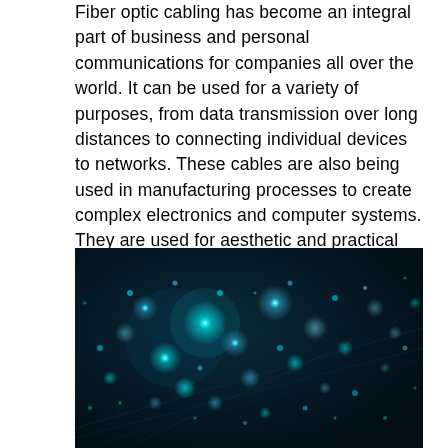Fiber optic cabling has become an integral part of business and personal communications for companies all over the world. It can be used for a variety of purposes, from data transmission over long distances to connecting individual devices to networks. These cables are also being used in manufacturing processes to create complex electronics and computer systems. They are used for aesthetic and practical reasons as well. In short, they are everywhere.
[Figure (photo): Close-up photograph of glowing fiber optic cables with blue and cyan bokeh light points against a dark teal/navy background, showing the illuminated tips of fiber optic strands.]